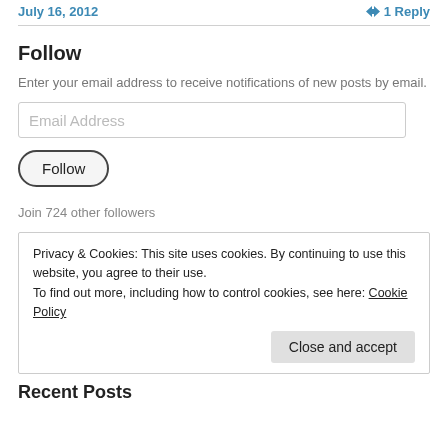July 16, 2012    1 Reply
Follow
Enter your email address to receive notifications of new posts by email.
Email Address
Follow
Join 724 other followers
Privacy & Cookies: This site uses cookies. By continuing to use this website, you agree to their use.
To find out more, including how to control cookies, see here: Cookie Policy
Close and accept
Recent Posts